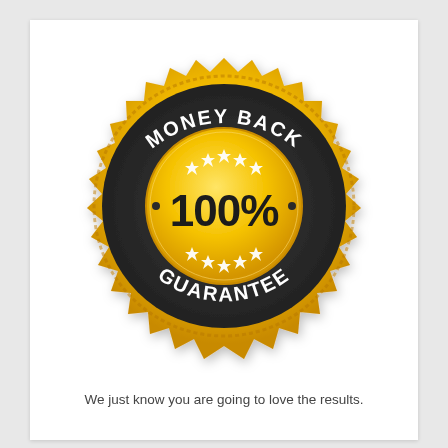[Figure (illustration): Gold and black money-back guarantee seal badge with zigzag border, 'MONEY BACK' text on top arc, 'GUARANTEE' text on bottom arc, '100%' in large text in center, and stars decorating the inner circle.]
We just know you are going to love the results.